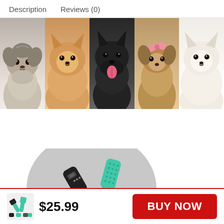Description    Reviews (0)
[Figure (photo): Five small dogs in a row on white background: Yorkshire Terrier, Pomeranian (brown), black Scottish Terrier with tongue out, Yorkshire Terrier with pink bow, white Pomeranian]
[Figure (photo): Dog grooming brush product shown on gray circular background, teal and black colors, two views]
[Figure (photo): Small product thumbnail of grooming brush set]
$25.99
BUY NOW